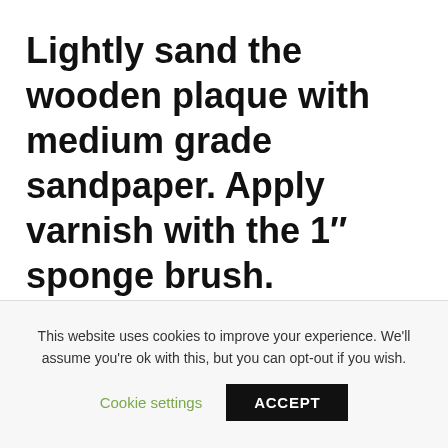Lightly sand the wooden plaque with medium grade sandpaper. Apply varnish with the 1″ sponge brush.
This website uses cookies to improve your experience. We'll assume you're ok with this, but you can opt-out if you wish.
Cookie settings   ACCEPT